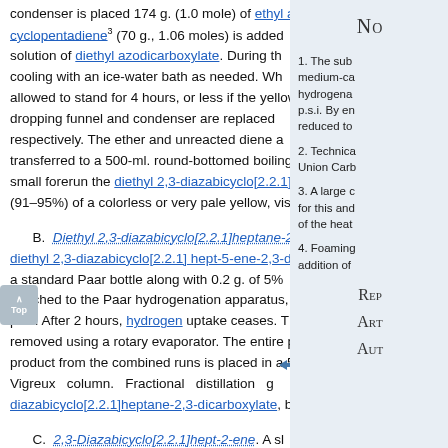condenser is placed 174 g. (1.0 mole) of ethyl azodicarboxylate. cyclopentadiene[3] (70 g., 1.06 moles) is added solution of diethyl azodicarboxylate. During th cooling with an ice-water bath as needed. Wh allowed to stand for 4 hours, or less if the yellow dropping funnel and condenser are replaced respectively. The ether and unreacted diene a transferred to a 500-ml. round-bottomed boiling small forerun the diethyl 2,3-diazabicyclo[2.2.1]h (91–95%) of a colorless or very pale yellow, visco
B. Diethyl 2,3-diazabicyclo[2.2.1]heptane-2 diethyl 2,3-diazabicyclo[2.2.1] hept-5-ene-2,3-dic a standard Paar bottle along with 0.2 g. of 5% attached to the Paar hydrogenation apparatus, p.s.i. After 2 hours, hydrogen uptake ceases. T removed using a rotary evaporator. The entire p product from the combined runs is placed in a 5 Vigreux column. Fractional distillation g diazabicyclo[2.2.1]heptane-2,3-dicarboxylate, b.p
C. 2,3-Diazabicyclo[2.2.1]hept-2-ene. A sl ethylene glycol (Note 2) for 20 minutes in a heating (Note 3). The gas inlet tube is replaced below the level of the ethylene glycol, and 275 pellets (85% pure) is added in four portions. A
No
1. The sub medium-ca hydrogena p.s.i. By em reduced to
2. Technica Union Carb
3. A large c for this and of the heat
4. Foaming addition of
Re Ar Au